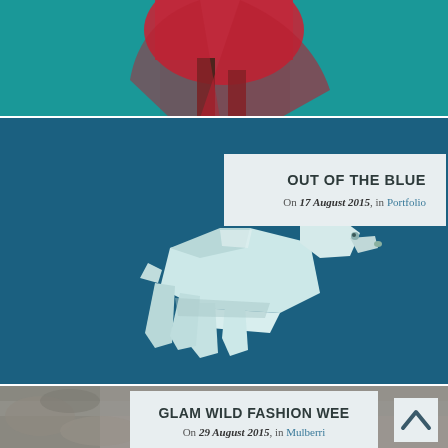[Figure (photo): Top portion of page showing a fashion photo with teal/turquoise background and a person wearing a red outfit, cropped to show lower body]
[Figure (photo): Blue teal background section featuring a low-poly origami-style polar bear sculpture in light blue/white color, walking pose]
OUT OF THE BLUE
On 17 August 2015, in Portfolio
GLAM WILD FASHION WEE
On 29 August 2015, in Mulberri
[Figure (photo): Bottom partial photo with blurred gray/mossy background, partially visible]